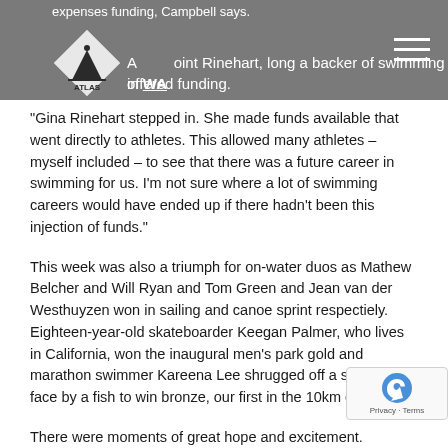expenses funding, Campbell says. A oint Rinehart, long a backer of swimming in WA offered funding.
“Gina Rinehart stepped in. She made funds available that went directly to athletes. This allowed many athletes – myself included – to see that there was a future career in swimming for us. I’m not sure where a lot of swimming careers would have ended up if there hadn’t been this injection of funds.”
This week was also a triumph for on-water duos as Mathew Belcher and Will Ryan and Tom Green and Jean van der Westhuyzen won in sailing and canoe sprint respectiely. Eighteen-year-old skateboarder Keegan Palmer, who lives in California, won the inaugural men’s park gold and marathon swimmer Kareena Lee shrugged off a slap in the face by a fish to win bronze, our first in the 10km eve
There were moments of great hope and excitement.